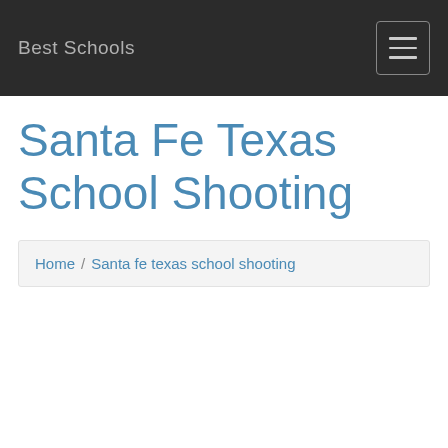Best Schools
Santa Fe Texas School Shooting
Home / Santa fe texas school shooting